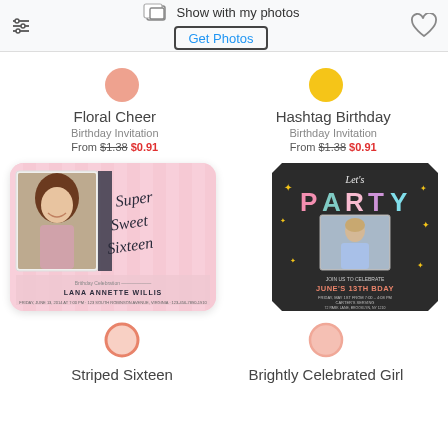Show with my photos | Get Photos
[Figure (illustration): Color swatch circle - coral/salmon color for Floral Cheer]
Floral Cheer
Birthday Invitation
From $1.38 $0.91
[Figure (illustration): Color swatch circle - yellow/gold color for Hashtag Birthday]
Hashtag Birthday
Birthday Invitation
From $1.38 $0.91
[Figure (illustration): Pink birthday invitation card - Super Sweet Sixteen with photo of smiling girl, text reads: Lana Annette Willis]
[Figure (illustration): Dark birthday party invitation - Let's PARTY with colorful letters, photo of child, text: Join us to celebrate June's 13th Bday, Friday May 1st from 7:00-4:08 PM, Carter's Serving, 72 Park Lane, Brooklyn, NY 1210]
[Figure (illustration): Color swatch circle - coral outline for Striped Sixteen]
Striped Sixteen
[Figure (illustration): Color swatch circle - light coral for Brightly Celebrated Girl]
Brightly Celebrated Girl